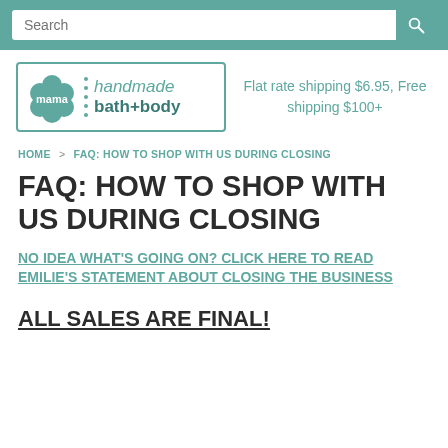Search
[Figure (logo): Mama Handmade Bath+Body logo with teal flower icon and text]
Flat rate shipping $6.95, Free shipping $100+
HOME > FAQ: HOW TO SHOP WITH US DURING CLOSING
FAQ: HOW TO SHOP WITH US DURING CLOSING
NO IDEA WHAT'S GOING ON? CLICK HERE TO READ EMILIE'S STATEMENT ABOUT CLOSING THE BUSINESS
ALL SALES ARE FINAL!